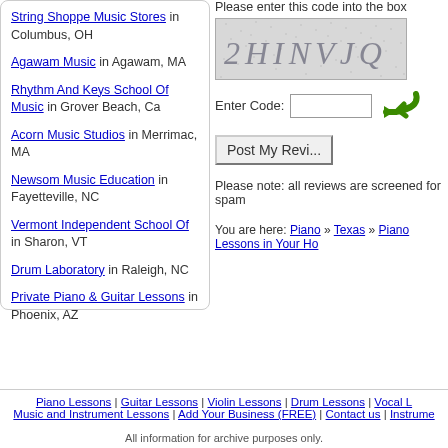String Shoppe Music Stores in Columbus, OH
Agawam Music in Agawam, MA
Rhythm And Keys School Of Music in Grover Beach, Ca
Acorn Music Studios in Merrimac, MA
Newsom Music Education in Fayetteville, NC
Vermont Independent School Of in Sharon, VT
Drum Laboratory in Raleigh, NC
Private Piano & Guitar Lessons in Phoenix, AZ
Please enter this code into the box
[Figure (other): CAPTCHA image showing distorted text '2HINVJQ' on dotted/noisy background]
Enter Code:
Post My Review
Please note: all reviews are screened for spam
You are here: Piano » Texas » Piano Lessons in Your Ho
Piano Lessons | Guitar Lessons | Violin Lessons | Drum Lessons | Vocal L
Music and Instrument Lessons | Add Your Business (FREE) | Contact us | Instrume
All information for archive purposes only.